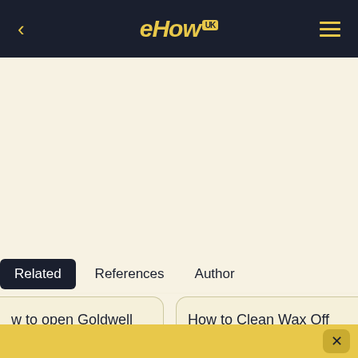eHow UK
Related	References	Author
How to open Goldwell our finish serum
How to Clean Wax Off Cast Iron